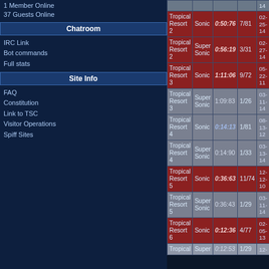1 Member Online
37 Guests Online
Chatroom
IRC Link
Bot commands
Full stats
Site Info
FAQ
Constitution
Link to TSC
Visitor Operations
Spiff Sites
[Figure (screenshot): Side-scrolling video game screenshot showing a futuristic blue/teal building exterior with glowing lights and a purple ball]
| Level | Character | Time | Rank | Date |
| --- | --- | --- | --- | --- |
| Tropical Resort 2 | Sonic | 0:50:76 | 7/81 | 02-25-14 |
| Tropical Resort 2 | Super Sonic | 0:56:19 | 3/31 | 02-27-14 |
| Tropical Resort 3 | Sonic | 1:11:06 | 9/72 | 05-22-11 |
| Tropical Resort 3 | Super Sonic | 1:09:83 | 1/26 | 03-11-14 |
| Tropical Resort 4 | Sonic | 0:14:13 | 1/81 | 08-13-12 |
| Tropical Resort 4 | Super Sonic | 0:14:90 | 1/33 | 03-13-14 |
| Tropical Resort 5 | Sonic | 0:36:63 | 11/74 | 12-12-10 |
| Tropical Resort 5 | Super Sonic | 0:36:43 | 1/29 | 03-11-14 |
| Tropical Resort 6 | Sonic | 0:12:36 | 4/77 | 02-05-13 |
| Tropical Resort | Super | 0:12:53 | 1/29 | 12- |